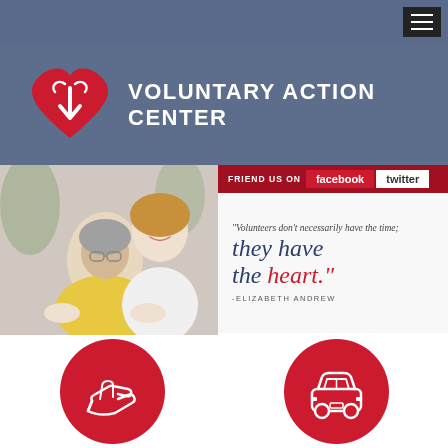[Figure (logo): Voluntary Action Center logo: red heart with arrows and hands icon, with organization name to the right]
VOLUNTARY ACTION CENTER
[Figure (photo): Young woman volunteer smiling with elderly woman in yellow sweater]
FRIEND US ON  facebook  twitter
"Volunteers don't necessarily have the time; they have the heart." -ELIZABETH ANDREW
[Figure (illustration): Red circle with white outline hand/giving icon]
[Figure (illustration): Red circle with white outline car icon]